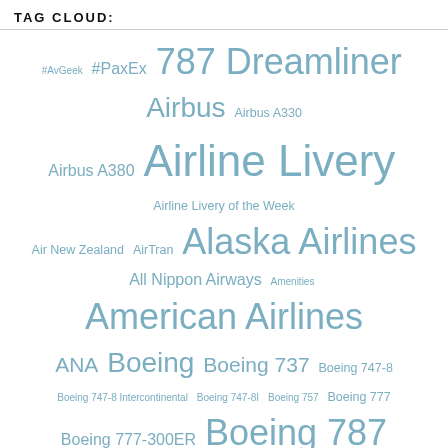TAG CLOUD:
[Figure (infographic): Tag cloud with aviation-related tags in varying sizes and shades of blue-grey, including: #AvGeek, #PaxEx, 787 Dreamliner, Airbus, Airbus A330, Airbus A380, Airline Livery, Airline Livery of the Week, Air New Zealand, AirTran, Alaska Airlines, All Nippon Airways, Amenities, American Airlines, ANA, Boeing, Boeing 737, Boeing 747-8, Boeing 747-8 Intercontinental, Boeing 747-8I, Boeing 757, Boeing 777, Boeing 777-300ER, Boeing 787, Boeing 787 Dreamliner, Boeing Field, British Airways, Business Class, contest, Delta Air Lines, Dreamliner, economy, Economy Review, First Class, First Flight, Flight Review, Future of Flight, JetBlue, KPAE, LAX, Livery of the Week, My Review, PAE, Paine Field]